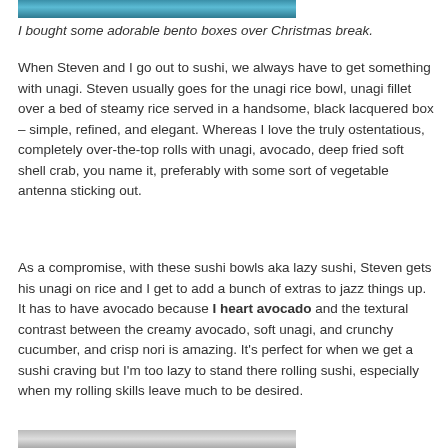[Figure (photo): Top portion of a photo showing a blue/teal colored surface, likely a bento box or sushi-related item]
I bought some adorable bento boxes over Christmas break.
When Steven and I go out to sushi, we always have to get something with unagi. Steven usually goes for the unagi rice bowl, unagi fillet over a bed of steamy rice served in a handsome, black lacquered box – simple, refined, and elegant. Whereas I love the truly ostentatious, completely over-the-top rolls with unagi, avocado, deep fried soft shell crab, you name it, preferably with some sort of vegetable antenna sticking out.
As a compromise, with these sushi bowls aka lazy sushi, Steven gets his unagi on rice and I get to add a bunch of extras to jazz things up. It has to have avocado because I heart avocado and the textural contrast between the creamy avocado, soft unagi, and crunchy cucumber, and crisp nori is amazing. It's perfect for when we get a sushi craving but I'm too lazy to stand there rolling sushi, especially when my rolling skills leave much to be desired.
[Figure (photo): Bottom portion of a photo showing another bento box or sushi-related item]